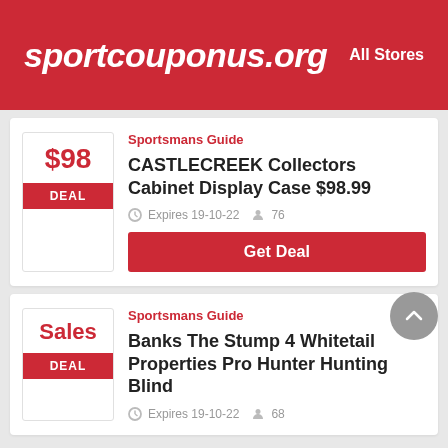sportcouponus.org   All Stores
Sportsmans Guide
CASTLECREEK Collectors Cabinet Display Case $98.99
Expires 19-10-22   76
Get Deal
Sportsmans Guide
Banks The Stump 4 Whitetail Properties Pro Hunter Hunting Blind
Expires 19-10-22   68